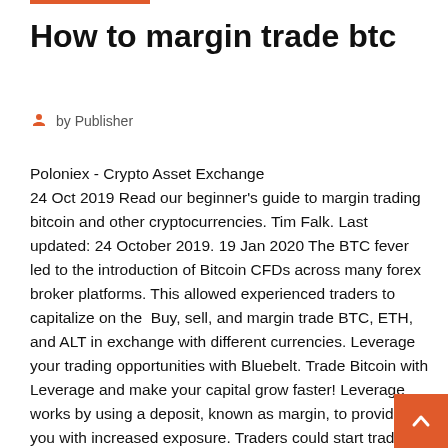How to margin trade btc
by Publisher
Poloniex - Crypto Asset Exchange
24 Oct 2019 Read our beginner's guide to margin trading bitcoin and other cryptocurrencies. Tim Falk. Last updated: 24 October 2019. 19 Jan 2020 The BTC fever led to the introduction of Bitcoin CFDs across many forex broker platforms. This allowed experienced traders to capitalize on the  Buy, sell, and margin trade BTC, ETH, and ALT in exchange with different currencies. Leverage your trading opportunities with Bluebelt. Trade Bitcoin with Leverage and make your capital grow faster! Leverage works by using a deposit, known as margin, to provide you with increased exposure. Traders could start trading with 2:1 up to 100:1 leverage. That means if you have 1 Bitcoin (BTC) to trade and you use 2:1 leverage, you will be able to trade with 2 13 Feb 2020 While U.S. traders can get leverage to buy regular bitcoin (BTC) futures contracts on the CME and Intercontinental